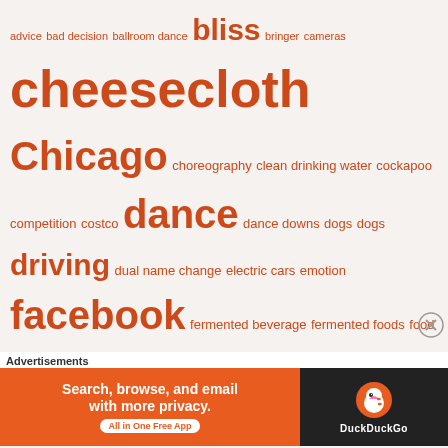[Figure (infographic): Tag cloud with terms of varying sizes in orange/red color on light background. Terms include: advice, bad decision, ballroom dance, bliss, bringer, cameras, cheesecloth, Chicago, choreography, clean drinking water, cockapoo, competition, costco, dance, dance downs, dogs, dogs, driving, dual name change, electric cars, emotion, facebook, fermented beverage, fermented foods, food, gay marriage, girl time, grooming, happiness, human companion, humanize, hybrid cars, hyphenate, imovie, instagram, iPad, kasey, legacy, looks, maiden name, man changes his last name, mason ball jar, meaningful life, meditation, monster, namaste, negativity, out-of-the-box thinker, Pete Sawochka-Dalton, positive female reaction, Prius, rejuvelac, running, running shorts, rye berries, Sanskrit, Sara Sawochka-Dalton, selfies, service donation, smile, social media, Soundscapes Music Channel, sprouting, sprout, tiktok, yoga, youtube]
Advertisements
[Figure (illustration): DuckDuckGo advertisement banner. Orange left section says 'Search, browse, and email with more privacy. All in One Free App'. Dark right section shows DuckDuckGo logo and name.]